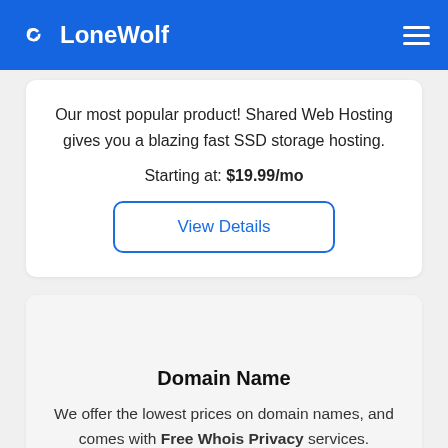LoneWolf
Our most popular product! Shared Web Hosting gives you a blazing fast SSD storage hosting.
Starting at: $19.99/mo
View Details
Domain Name
We offer the lowest prices on domain names, and comes with Free Whois Privacy services.